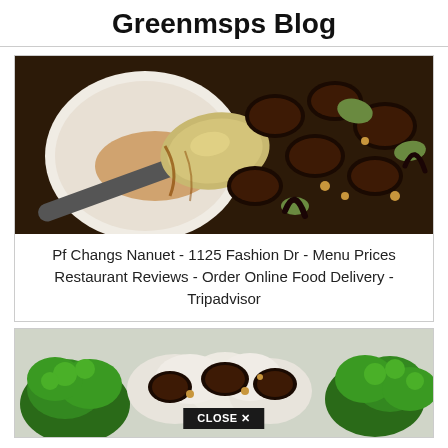Greenmsps Blog
[Figure (photo): Close-up photo of glazed meat dish with spoon, nuts, and peppers in a bowl]
Pf Changs Nanuet - 1125 Fashion Dr - Menu Prices Restaurant Reviews - Order Online Food Delivery - Tripadvisor
[Figure (photo): Food photo showing broccoli and glazed meat dish with a CLOSE X button overlay]